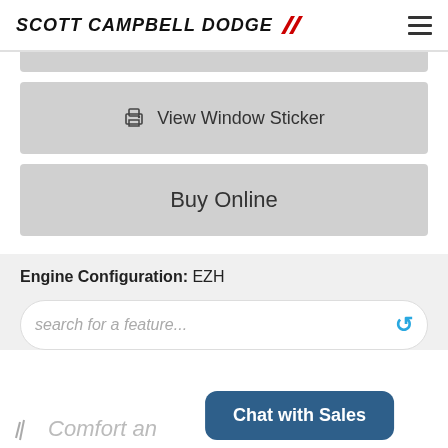SCOTT CAMPBELL DODGE
[Figure (screenshot): Gray button strip (partially visible, cropped at top)]
🖨 View Window Sticker
Buy Online
Engine Configuration: EZH
search for a feature...
Comfort an...
Chat with Sales